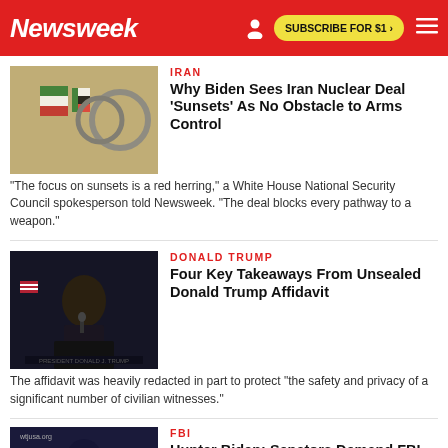Newsweek | SUBSCRIBE FOR $1 >
IRAN
Why Biden Sees Iran Nuclear Deal 'Sunsets' As No Obstacle to Arms Control
"The focus on sunsets is a red herring," a White House National Security Council spokesperson told Newsweek. "The deal blocks every pathway to a weapon."
DONALD TRUMP
Four Key Takeaways From Unsealed Donald Trump Affidavit
The affidavit was heavily redacted in part to protect "the safety and privacy of a significant number of civilian witnesses."
FBI
Hunter Biden: Senators Demand FBI Provide Answers Regarding Laptop Probe
The senators accused FBI officials of downplaying